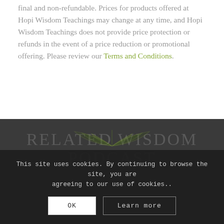final and non-refundable. Prices for products offered at Hopi Wisdom Teachings may change at any time, and Hopi Wisdom Teachings does not provide price protection or refunds in the event of a price reduction or promotional offering. Please review our Terms and Conditions.
RELATED WISDOM PODCAST
This site uses cookies. By continuing to browse the site, you are agreeing to our use of cookies.